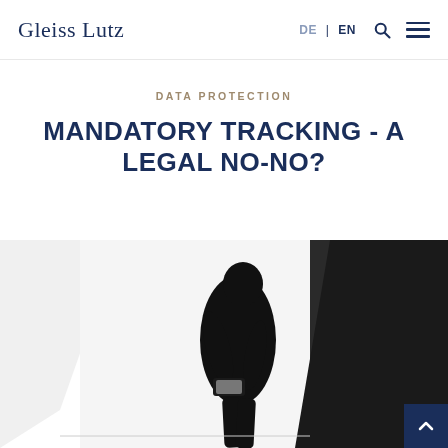Gleiss Lutz   DE | EN
DATA PROTECTION
MANDATORY TRACKING - A LEGAL NO-NO?
[Figure (photo): Black and white silhouette of a person looking down at a smartphone, standing against a white background with geometric architectural shapes]